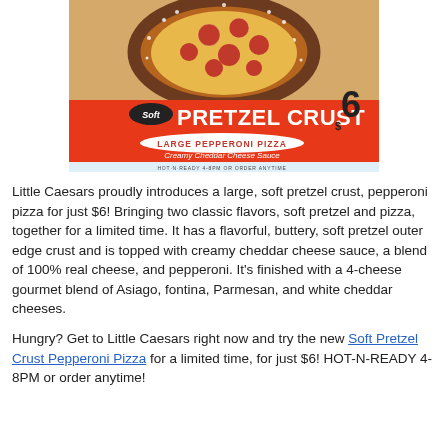[Figure (photo): Little Caesars Soft Pretzel Crust Large Pepperoni Pizza advertisement showing a pizza with pretzel crust, priced at $6, with text 'Creamy Cheddar Cheese Sauce' and 'HOT-N-READY 4-8PM OR ORDER ANYTIME']
Little Caesars proudly introduces a large, soft pretzel crust, pepperoni pizza for just $6! Bringing two classic flavors, soft pretzel and pizza, together for a limited time. It has a flavorful, buttery, soft pretzel outer edge crust and is topped with creamy cheddar cheese sauce, a blend of 100% real cheese, and pepperoni. It's finished with a 4-cheese gourmet blend of Asiago, fontina, Parmesan, and white cheddar cheeses.
Hungry? Get to Little Caesars right now and try the new Soft Pretzel Crust Pepperoni Pizza for a limited time, for just $6! HOT-N-READY 4-8PM or order anytime!